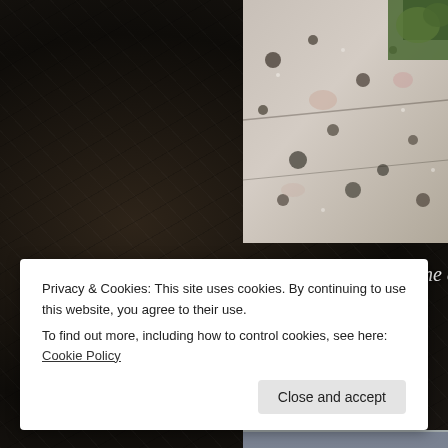[Figure (photo): Close-up photograph of lichen-covered granite rock with green moss/vegetation visible in top right corner, viewed from above]
gnarly wood used as a top layer for a railing on the deck on a whar
[Figure (photo): Photograph of weathered limestone or stone architectural ruins with layered horizontal strata, possibly ancient ruins or rocky coastal formation]
Privacy & Cookies: This site uses cookies. By continuing to use this website, you agree to their use. To find out more, including how to control cookies, see here: Cookie Policy
Close and accept